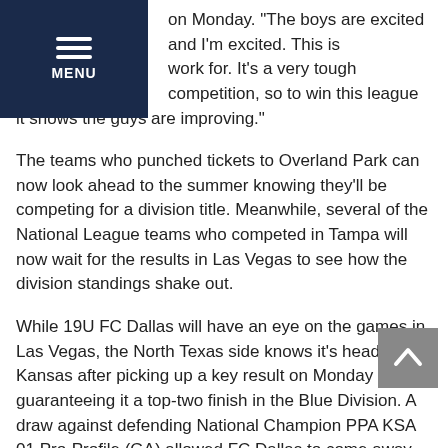MENU
on Monday. “The boys are excited and I’m excited. This is work for. It’s a very tough competition, so to win this league it shows the guys are improving.”
The teams who punched tickets to Overland Park can now look ahead to the summer knowing they’ll be competing for a division title. Meanwhile, several of the National League teams who competed in Tampa will now wait for the results in Las Vegas to see how the division standings shake out.
While 19U FC Dallas will have an eye on the games in Las Vegas, the North Texas side knows it’s heading to Kansas after picking up a key result on Monday – guaranteeing it a top-two finish in the Blue Division. A draw against defending National Champion PPA KSA 01 Pro-Profile (GA) allowed FC Dallas to come away on top of the group, as it prevented the Georgia side from surpassing it in the standings.
“It’s fantastic being a part of a league like National League with the best teams in the country,” FC Dallas 01 coach Casey Cantor said. “When the schedule comes out, and you have the defending National